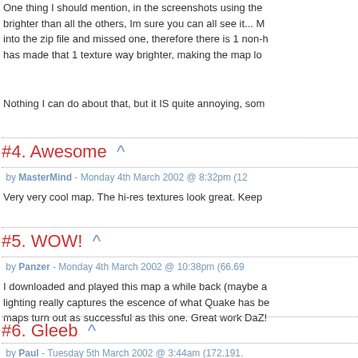One thing I should mention, in the screenshots using the brighter than all the others, Im sure you can all see it... M into the zip file and missed one, therefore there is 1 non-h has made that 1 texture way brighter, making the map lo
Nothing I can do about that, but it IS quite annoying, som
#4. Awesome ^
by MasterMind - Monday 4th March 2002 @ 8:32pm (12
Very very cool map. The hi-res textures look great. Keep
#5. WOW! ^
by Panzer - Monday 4th March 2002 @ 10:38pm (66.69
I downloaded and played this map a while back (maybe a lighting really captures the escence of what Quake has be maps turn out as successful as this one. Great work DaZ!
#6. Gleeb ^
by Paul - Tuesday 5th March 2002 @ 3:44am (172.191.
I deliberately didn't give an url for TomazQuake since I'm etc). I did run crdm2 in GQ but it complains about some e